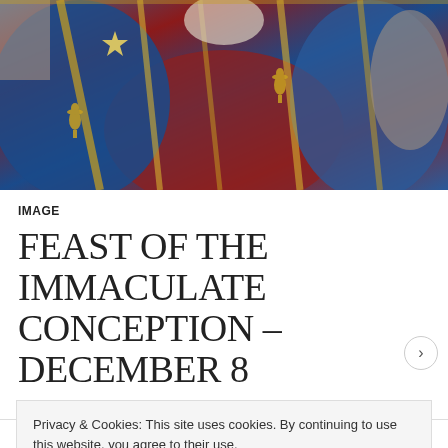[Figure (photo): Close-up of a medieval or Renaissance religious painting showing figures in ornate robes with gold details, blue and red garments with golden fleur-de-lis embroidery, and a gold star visible. Rich colors of blue, red, and gold throughout.]
IMAGE
FEAST OF THE IMMACULATE CONCEPTION – DECEMBER 8
Privacy & Cookies: This site uses cookies. By continuing to use this website, you agree to their use.
To find out more, including how to control cookies, see here: Cookie Policy
Close and accept